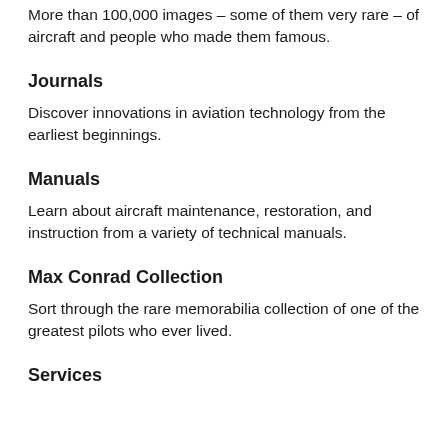More than 100,000 images – some of them very rare – of aircraft and people who made them famous.
Journals
Discover innovations in aviation technology from the earliest beginnings.
Manuals
Learn about aircraft maintenance, restoration, and instruction from a variety of technical manuals.
Max Conrad Collection
Sort through the rare memorabilia collection of one of the greatest pilots who ever lived.
Services